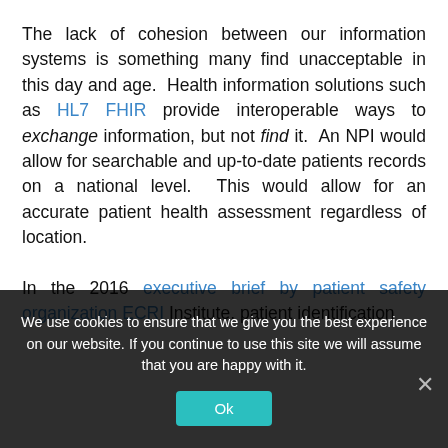The lack of cohesion between our information systems is something many find unacceptable in this day and age. Health information solutions such as HL7 FHIR provide interoperable ways to exchange information, but not find it. An NPI would allow for searchable and up-to-date patients records on a national level. This would allow for an accurate patient health assessment regardless of location.

In the 2016 executive brief by patient safety organization ECRI Institute, patient identification
We use cookies to ensure that we give you the best experience on our website. If you continue to use this site we will assume that you are happy with it.